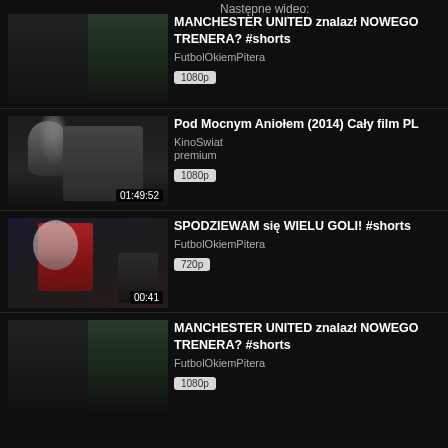Następne wideo:
[Figure (screenshot): Video thumbnail: dark image showing football manager, duration 00:21]
MANCHESTER UNITED znalazł NOWEGO TRENERA? #shorts
FutbolOkiemPitera
1080p
[Figure (screenshot): Video thumbnail: man near microphone in studio, duration 01:49:52]
Pod Mocnym Aniołem (2014) Cały film PL
KinoSwiat
premium
1080p
[Figure (screenshot): Video thumbnail: football player Ronaldo, duration 00:41]
SPODZIEWAM się WIELU GOLI! #shorts
FutbolOkiemPitera
720p
[Figure (screenshot): Video thumbnail: dark image showing football manager, partially visible]
MANCHESTER UNITED znalazł NOWEGO TRENERA? #shorts
FutbolOkiemPitera
1080p